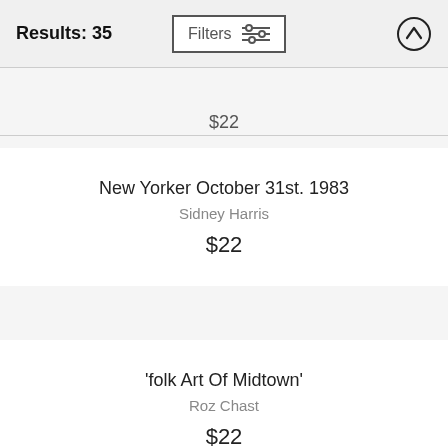Results: 35
$22
New Yorker October 31st. 1983
Sidney Harris
$22
'folk Art Of Midtown'
Roz Chast
$22